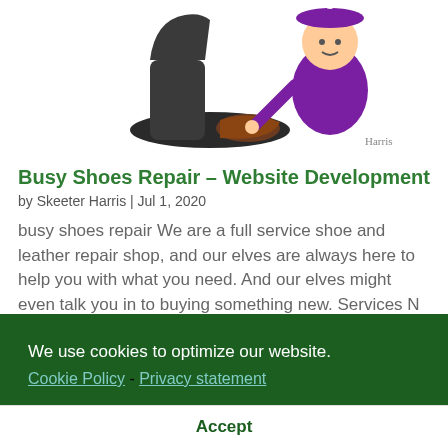[Figure (illustration): Cartoon elf/gnome in purple outfit crouching next to a large dark shoe/boot, with an artist signature]
Busy Shoes Repair – Website Development
by Skeeter Harris | Jul 1, 2020
busy shoes repair We are a full service shoe and leather repair shop, and our elves are always here to help you with what you need. And our elves might even talk you in to buying something new. Services N Website Design & Layout N
We use cookies to optimize our website.
Cookie Policy - Privacy statement
Accept